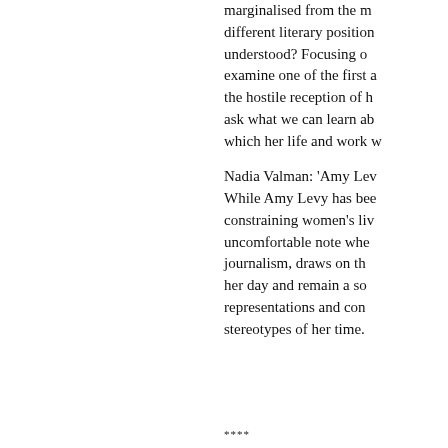marginalised from the mainstream, occupy different literary positions, and how is this understood? Focusing on Amy Levy, I examine one of the first accounts to discuss the hostile reception of her work, and ask what we can learn about the world in which her life and work were embedded.
Nadia Valman: 'Amy Levy...' While Amy Levy has been celebrated for constraining women's lives, she struck an uncomfortable note when her fiction, and journalism, draws on the Jewish culture of her day and remain a source of images, representations and complex Jewish stereotypes of her time.
****